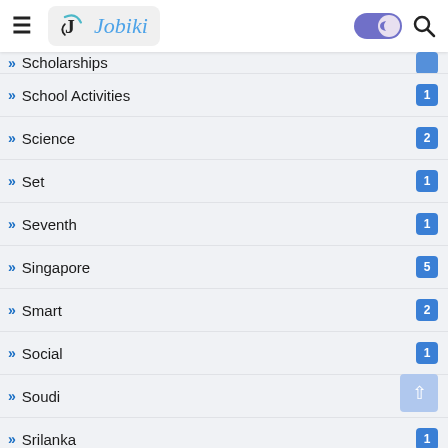Jobiki navigation header with hamburger menu, logo, dark mode toggle, and search icon
Scholarships
School Activities 1
Science 2
Set 1
Seventh 1
Singapore 5
Smart 2
Social 1
Soudi 1
Srilanka 1
SSC CHSL 1
Subject Matter Expert 4